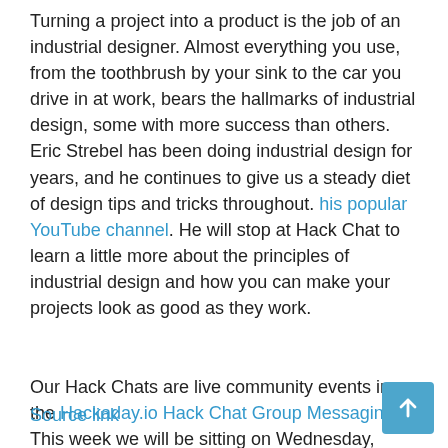Turning a project into a product is the job of an industrial designer. Almost everything you use, from the toothbrush by your sink to the car you drive in at work, bears the hallmarks of industrial design, some with more success than others. Eric Strebel has been doing industrial design for years, and he continues to give us a steady diet of design tips and tricks throughout. his popular YouTube channel. He will stop at Hack Chat to learn a little more about the principles of industrial design and how you can make your projects look as good as they work.
Our Hack Chats are live community events in the Hackaday.io Hack Chat Group Messaging. This week we will be sitting on Wednesday, September 8 at 12:00 p.m. PT. If time zones have blocked you, we have a convenient time zone converter.
Source link